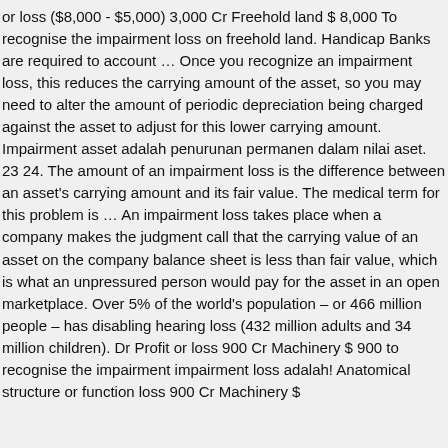or loss ($8,000 - $5,000) 3,000 Cr Freehold land $ 8,000 To recognise the impairment loss on freehold land. Handicap Banks are required to account … Once you recognize an impairment loss, this reduces the carrying amount of the asset, so you may need to alter the amount of periodic depreciation being charged against the asset to adjust for this lower carrying amount. Impairment asset adalah penurunan permanen dalam nilai aset. 23 24. The amount of an impairment loss is the difference between an asset's carrying amount and its fair value. The medical term for this problem is … An impairment loss takes place when a company makes the judgment call that the carrying value of an asset on the company balance sheet is less than fair value, which is what an unpressured person would pay for the asset in an open marketplace. Over 5% of the world's population – or 466 million people – has disabling hearing loss (432 million adults and 34 million children). Dr Profit or loss 900 Cr Machinery $ 900 to recognise the impairment impairment loss adalah! Anatomical structure or function loss 900 Cr Machinery $